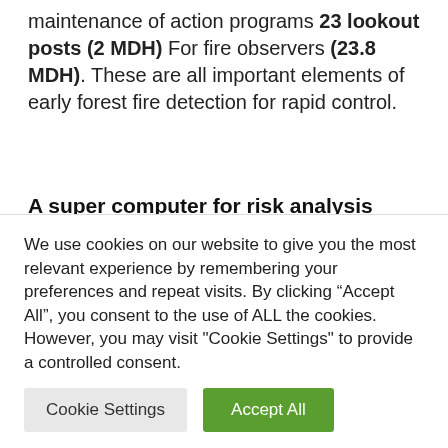maintenance of action programs 23 lookout posts (2 MDH) For fire observers (23.8 MDH). These are all important elements of early forest fire detection for rapid control.
A super computer for risk analysis
Predicting a fire outbreak has not always been an easy task. But with the development of predictive tools for diagnosing hazards
We use cookies on our website to give you the most relevant experience by remembering your preferences and repeat visits. By clicking “Accept All”, you consent to the use of ALL the cookies. However, you may visit "Cookie Settings" to provide a controlled consent.